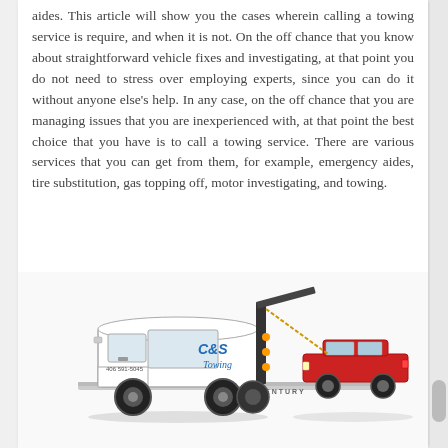aides. This article will show you the cases wherein calling a towing service is require, and when it is not. On the off chance that you know about straightforward vehicle fixes and investigating, at that point you do not need to stress over employing experts, since you can do it without anyone else's help. In any case, on the off chance that you are managing issues that you are inexperienced with, at that point the best choice that you have is to call a towing service. There are various services that you can get from them, for example, emergency aides, tire substitution, gas topping off, motor investigating, and towing.
[Figure (photo): A white C&S Towing flatbed tow truck with a red car loaded on the flatbed. The truck has the phone number 406 591-5045 on the door and a Century brand flatbed.]